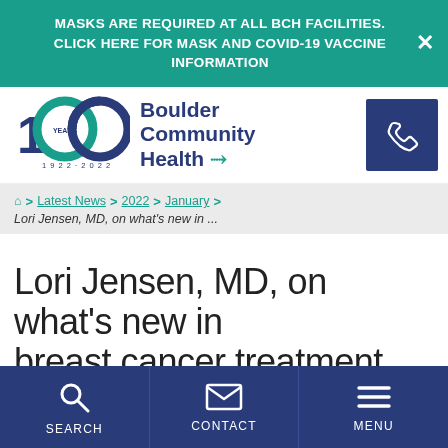MASKS ARE REQUIRED AT ALL BCH FACILITIES. CLICK HERE FOR MASK AND COVID-19 VACCINE INFORMATION
[Figure (logo): Boulder Community Health 100 Years logo (1922-2022) with teal and navy colors]
[Figure (other): Phone icon in navy square box]
🏠 > Latest News > 2022 > January > Lori Jensen, MD, on what's new in ...
Lori Jensen, MD, on what's new in breast cancer treatment
SEARCH
CONTACT
MENU